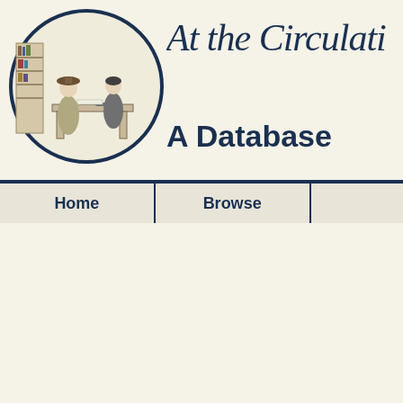[Figure (illustration): Circular pen-and-ink illustration of two Victorian figures at a library circulation desk]
At the Circulati
A Databas
Home  Browse
Brow
The following fiction titles were published in volume for particular character-type, genre, or setting can be found c the ABC-index to skip pages.
A B C D E F G H I J
Title
Paul Patoff
Paul Peabody: or, The Apprentice of the World
Paul Pendril: or, Sport and Adventure in Corsica